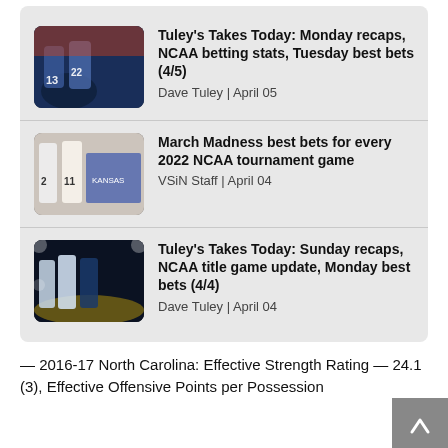Tuley's Takes Today: Monday recaps, NCAA betting stats, Tuesday best bets (4/5)
Dave Tuley | April 05
March Madness best bets for every 2022 NCAA tournament game
VSiN Staff | April 04
Tuley's Takes Today: Sunday recaps, NCAA title game update, Monday best bets (4/4)
Dave Tuley | April 04
— 2016-17 North Carolina: Effective Strength Rating — 24.1 (3), Effective Offensive Points per Possession — 1.171 (3), Effective Defensive Points per Possession —